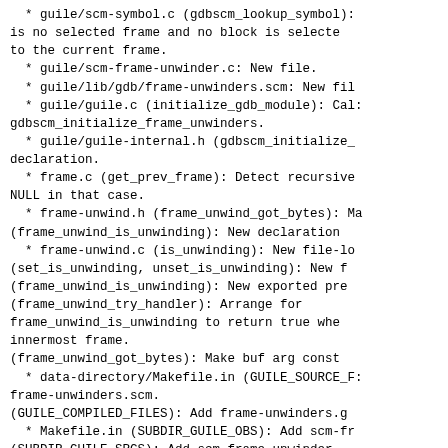* guile/scm-symbol.c (gdbscm_lookup_symbol):
is no selected frame and no block is selected
to the current frame.
* guile/scm-frame-unwinder.c: New file.
* guile/lib/gdb/frame-unwinders.scm: New file
* guile/guile.c (initialize_gdb_module): Cal:
gdbscm_initialize_frame_unwinders.
* guile/guile-internal.h (gdbscm_initialize_f
declaration.
* frame.c (get_prev_frame): Detect recursive
NULL in that case.
* frame-unwind.h (frame_unwind_got_bytes): Ma
(frame_unwind_is_unwinding): New declaration
* frame-unwind.c (is_unwinding): New file-loc
(set_is_unwinding, unset_is_unwinding): New f
(frame_unwind_is_unwinding): New exported pre
(frame_unwind_try_handler): Arrange for
frame_unwind_is_unwinding to return true when
innermost frame.
(frame_unwind_got_bytes): Make buf arg const
* data-directory/Makefile.in (GUILE_SOURCE_F:
frame-unwinders.scm.
(GUILE_COMPILED_FILES): Add frame-unwinders.g
* Makefile.in (SUBDIR_GUILE_OBS): Add scm-fra
(SUBDIR_GUILE_SRCS): Add scm-frame-unwinder.o
(scm-frame-unwinder.o): New target.
gdb/testsuite/ChangeLog:
* gdb.guile/scm-frame-unwinder.exp:
* gdb.guile/scm-frame-unwinder.c: